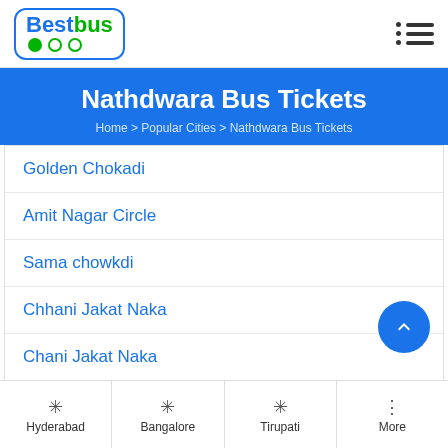BestBus
Nathdwara Bus Tickets
Home > Popular Cities > Nathdwara Bus Tickets
Golden Chokadi
Amit Nagar Circle
Sama chowkdi
Chhani Jakat Naka
Chani Jakat Naka
Golden Chowkd
Pandya Bridge
Hyderabad  Bangalore  Tirupati  More